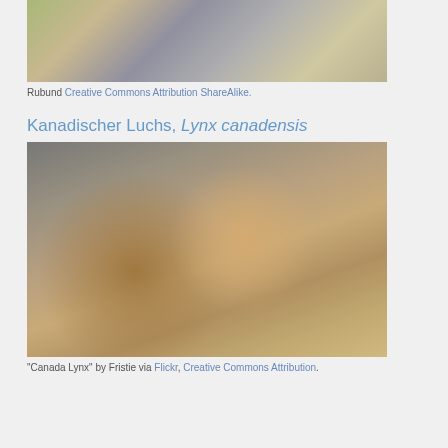[Figure (photo): Partial photo of a wildcat/lynx resting among rocks and foliage, cropped at top]
Rubund Creative Commons Attribution ShareAlike.
Kanadischer Luchs, Lynx canadensis
[Figure (photo): Photo of a Canada Lynx (Lynx canadensis) standing on a log against a rocky background, mouth slightly open]
"Canada Lynx" by Fristie via Flickr, Creative Commons Attribution.